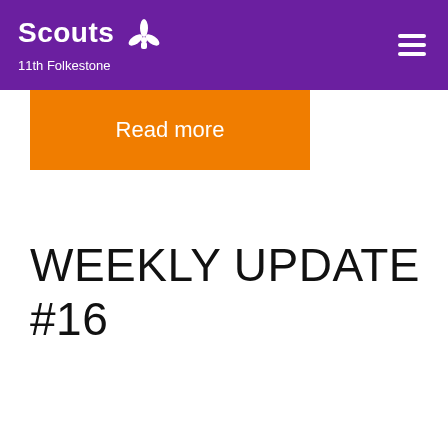Scouts 11th Folkestone
Read more
WEEKLY UPDATE #16